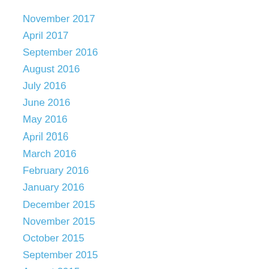November 2017
April 2017
September 2016
August 2016
July 2016
June 2016
May 2016
April 2016
March 2016
February 2016
January 2016
December 2015
November 2015
October 2015
September 2015
August 2015
July 2015
June 2015
May 2015